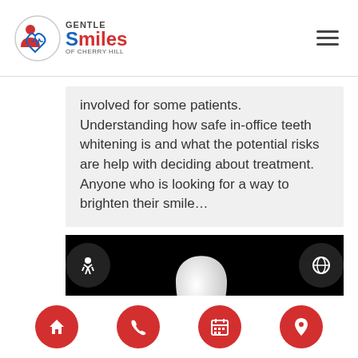Gentle Smiles of Cherry Hill
involved for some patients. Understanding how safe in-office teeth whitening is and what the potential risks are help with deciding about treatment. Anyone who is looking for a way to brighten their smile…
[Figure (photo): A white tooth veneer or dental crown displayed against a black background]
Navigation bar with home, phone, calendar, and location icons